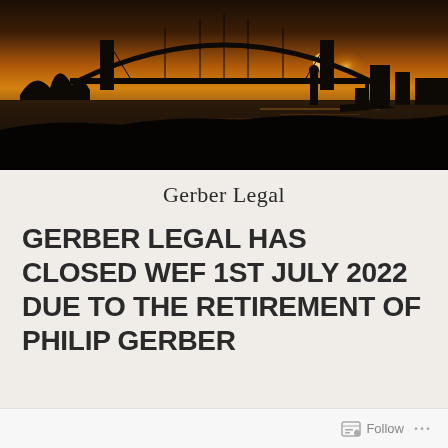[Figure (photo): Silhouette photograph of Sydney Harbour at sunset showing the Harbour Bridge and Opera House with golden sky and water reflections]
Gerber Legal
GERBER LEGAL HAS CLOSED WEF 1ST JULY 2022 DUE TO THE RETIREMENT OF PHILIP GERBER
Follow ...